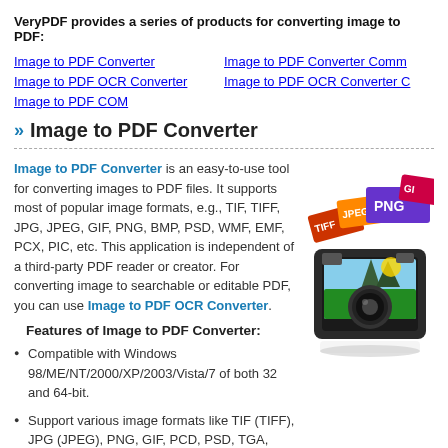VeryPDF provides a series of products for converting image to PDF:
Image to PDF Converter
Image to PDF Converter Comm
Image to PDF OCR Converter
Image to PDF OCR Converter C
Image to PDF COM
Image to PDF Converter
Image to PDF Converter is an easy-to-use tool for converting images to PDF files. It supports most of popular image formats, e.g., TIF, TIFF, JPG, JPEG, GIF, PNG, BMP, PSD, WMF, EMF, PCX, PIC, etc. This application is independent of a third-party PDF reader or creator. For converting image to searchable or editable PDF, you can use Image to PDF OCR Converter.
Features of Image to PDF Converter:
[Figure (illustration): Product illustration showing image format icons (GIF, JPEG, PNG, TIFF) stacked on top of a camera device with a tropical scene.]
Compatible with Windows 98/ME/NT/2000/XP/2003/Vista/7 of both 32 and 64-bit.
Support various image formats like TIF (TIFF), JPG (JPEG), PNG, GIF, PCD, PSD, TGA, BMP, DCX, PIC, EMF, WMF, etc.
Support converting from scanner.
Support unattended conversion for files in specified directories.